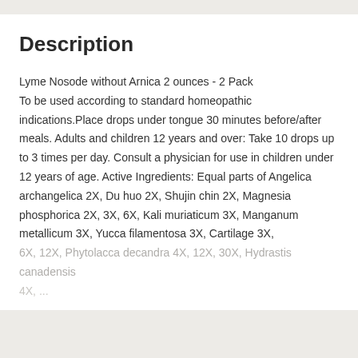Description
Lyme Nosode without Arnica 2 ounces - 2 Pack
To be used according to standard homeopathic indications.Place drops under tongue 30 minutes before/after meals. Adults and children 12 years and over: Take 10 drops up to 3 times per day. Consult a physician for use in children under 12 years of age. Active Ingredients: Equal parts of Angelica archangelica 2X, Du huo 2X, Shujin chin 2X, Magnesia phosphorica 2X, 3X, 6X, Kali muriaticum 3X, Manganum metallicum 3X, Yucca filamentosa 3X, Cartilage 3X, 6X, 12X, Phytolacca decandra 4X, 12X, 30X, Hydrastis canadensis
+ View more